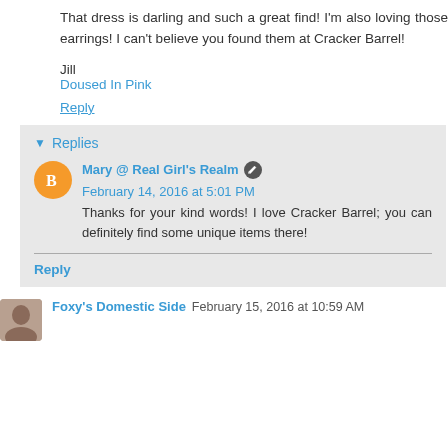That dress is darling and such a great find! I'm also loving those earrings! I can't believe you found them at Cracker Barrel!
Jill
Doused In Pink
Reply
▾ Replies
Mary @ Real Girl's Realm  February 14, 2016 at 5:01 PM
Thanks for your kind words! I love Cracker Barrel; you can definitely find some unique items there!
Reply
Foxy's Domestic Side  February 15, 2016 at 10:59 AM